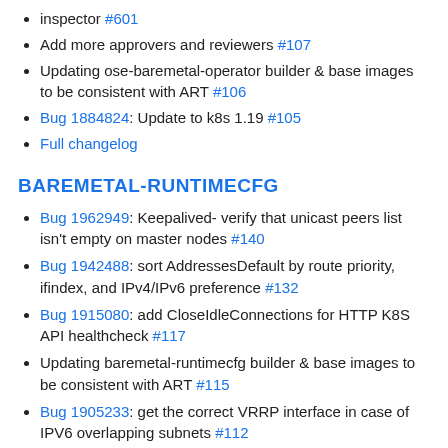inspector #601
Add more approvers and reviewers #107
Updating ose-baremetal-operator builder & base images to be consistent with ART #106
Bug 1884824: Update to k8s 1.19 #105
Full changelog
BAREMETAL-RUNTIMECFG
Bug 1962949: Keepalived- verify that unicast peers list isn't empty on master nodes #140
Bug 1942488: sort AddressesDefault by route priority, ifindex, and IPv4/IPv6 preference #132
Bug 1915080: add CloseIdleConnections for HTTP K8S API healthcheck #117
Updating baremetal-runtimecfg builder & base images to be consistent with ART #115
Bug 1905233: get the correct VRRP interface in case of IPV6 overlapping subnets #112